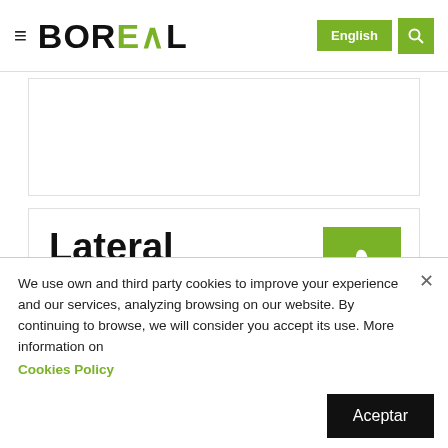BOREAL | English
Lateral Torsion System
The Lateral Torsion System is the latest development in rand tensioning technology. A tensioning band is used in conjunction with varying rubber thickness to produce a
We use own and third party cookies to improve your experience and our services, analyzing browsing on our website. By continuing to browse, we will consider you accept its use. More information on Cookies Policy
Aceptar